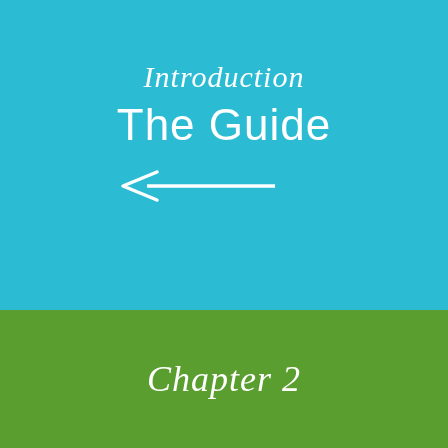Introduction
The Guide
[Figure (illustration): Left-pointing arrow in white]
Chapter 2